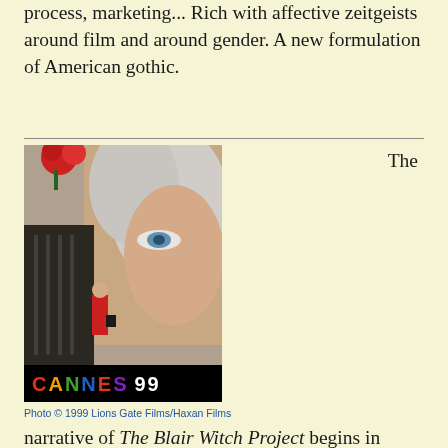process, marketing... Rich with affective zeitgeists around film and around gender. A new formulation of American gothic.
[Figure (photo): Cannes 99 promotional photo showing a close-up of a blonde woman's face as a large backdrop, with a smaller figure of a woman in a red coat standing in front. Text reads CANNES 99 at the bottom.]
Photo © 1999 Lions Gate Films/Haxan Films
The narrative of The Blair Witch Project begins in relative quiet, builds with exquisite steadiness, and ends with total, profound enervation. The movie itself, made for a very low budget by an unknown cast and crew, has followed a similar trajectory in reaching theaters. What began as